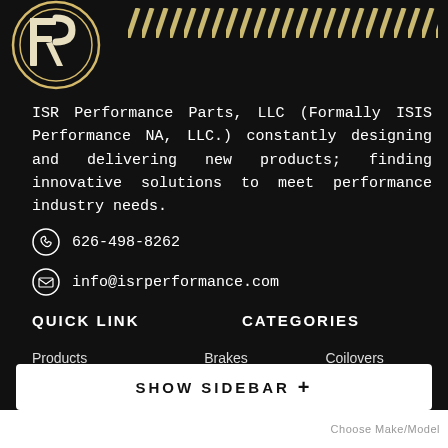[Figure (logo): ISR Performance circular logo with stylized letters, partial view at top-left. Diagonal gold/tan stripe pattern to the right.]
ISR Performance Parts, LLC (Formally ISIS Performance NA, LLC.) constantly designing and delivering new products; finding innovative solutions to meet performance industry needs.
626-498-8262
info@isrperformance.com
QUICK LINK
CATEGORIES
Products
Blog
Company
Dealers
Brakes
Cooling
Engine
Intercoolers
Coilovers
Couplers
Exhaust
Suspension
SHOW SIDEBAR +